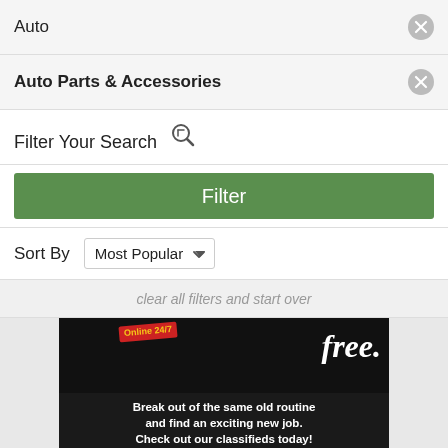Auto
Auto Parts & Accessories
Filter Your Search
Filter
Sort By  Most Popular
clear all filters and start over
[Figure (photo): Piedmont Shopper advertisement. Black background top section with a sign reading 'Online 24/7' and cursive 'free.' text. Middle section reads 'Break out of the same old routine and find an exciting new job. Check out our classifieds today!' Gold/tan bottom with Piedmont Shopper logo and www.piedmontshopper.com URL.]